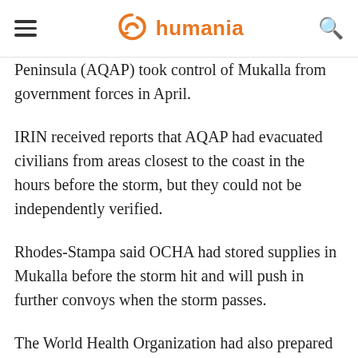humania
Peninsula (AQAP) took control of Mukalla from government forces in April.
IRIN received reports that AQAP had evacuated civilians from areas closest to the coast in the hours before the storm, but they could not be independently verified.
Rhodes-Stampa said OCHA had stored supplies in Mukalla before the storm hit and will push in further convoys when the storm passes.
The World Health Organization had also prepared for the cyclone by distributing trauma kits in Hadhramaut, as well